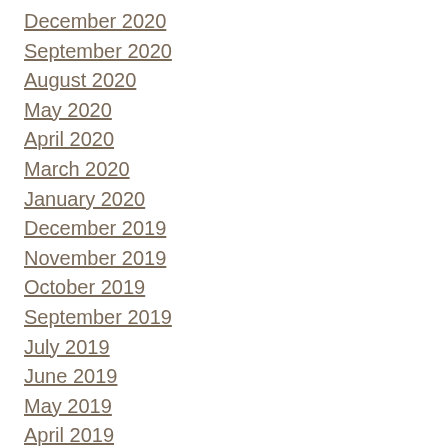December 2020
September 2020
August 2020
May 2020
April 2020
March 2020
January 2020
December 2019
November 2019
October 2019
September 2019
July 2019
June 2019
May 2019
April 2019
March 2019
January 2019
December 2018
October 2018